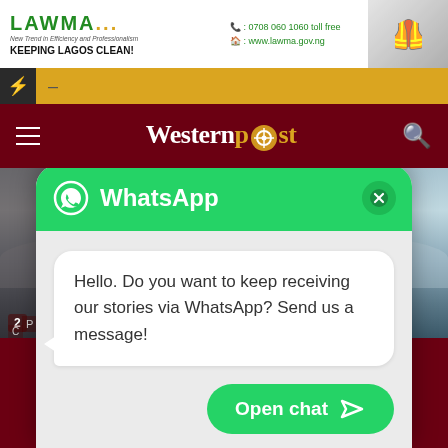[Figure (screenshot): LAWMA advertisement banner: logo, tagline 'New Trend in Efficiency and Professionalism', phone '0708 060 1060 toll free', website 'www.lawma.gov.ng', slogan 'KEEPING LAGOS CLEAN!', workers in orange vests on right]
[Figure (screenshot): Breaking news yellow bar with lightning bolt icon and dash]
[Figure (screenshot): WesternPost website navigation bar on dark red background with hamburger menu, logo, and search icon]
[Figure (screenshot): Article thumbnail image with outdoor workers/landscape scene, partially obscured by WhatsApp popup]
[Figure (screenshot): WhatsApp chat popup overlay with green header, WhatsApp logo, close button (x), message bubble saying 'Hello. Do you want to keep receiving our stories via WhatsApp? Send us a message!', and green 'Open chat' button with send arrow icon]